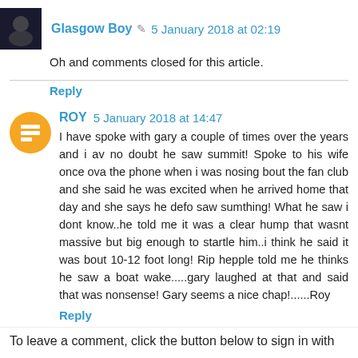Glasgow Boy 🖊 5 January 2018 at 02:19
Oh and comments closed for this article.
Reply
ROY 5 January 2018 at 14:47
I have spoke with gary a couple of times over the years and i av no doubt he saw summit! Spoke to his wife once ova the phone when i was nosing bout the fan club and she said he was excited when he arrived home that day and she says he defo saw sumthing! What he saw i dont know..he told me it was a clear hump that wasnt massive but big enough to startle him..i think he said it was bout 10-12 foot long! Rip hepple told me he thinks he saw a boat wake.....gary laughed at that and said that was nonsense! Gary seems a nice chap!......Roy
Reply
To leave a comment, click the button below to sign in with